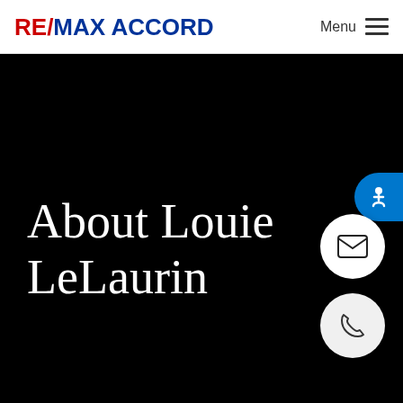RE/MAX ACCORD — Menu
About Louie LeLaurin